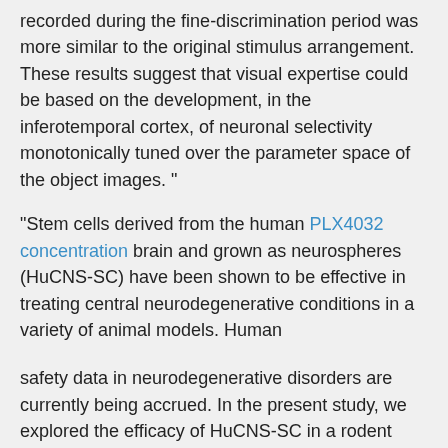recorded during the fine-discrimination period was more similar to the original stimulus arrangement. These results suggest that visual expertise could be based on the development, in the inferotemporal cortex, of neuronal selectivity monotonically tuned over the parameter space of the object images. “ “Stem cells derived from the human PLX4032 concentration brain and grown as neurospheres (HuCNS-SC) have been shown to be effective in treating central neurodegenerative conditions in a variety of animal models. Human
safety data in neurodegenerative disorders are currently being accrued. In the present study, we explored the efficacy of HuCNS-SC in a rodent model of retinal degeneration, the Royal College of Surgeons (RCS) rat, and extended our previous cell transplantation studies to include an in-depth examination of donor cell behavior and phenotype post-transplantation. As a first step, we have shown that HuCNS-SC protect host photoreceptors and preserve visual function after transplantation into the